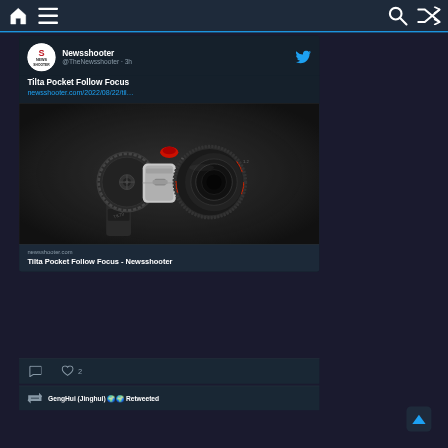[Figure (screenshot): Mobile app navigation bar with home icon, menu icon, search icon, and shuffle icon on dark blue background with blue top border]
[Figure (screenshot): Tweet from Newsshooter (@TheNewsshooter) posted 3h ago about Tilta Pocket Follow Focus with link newsshooter.com/2022/08/22/til... and a product photo of a follow focus device in black and grey on dark background. Link preview shows newsshooter.com and title Tilta Pocket Follow Focus - Newsshooter. Action bar shows comment and 2 likes icons.]
GengHui (Jinghui) 🌍🌍 Retweeted